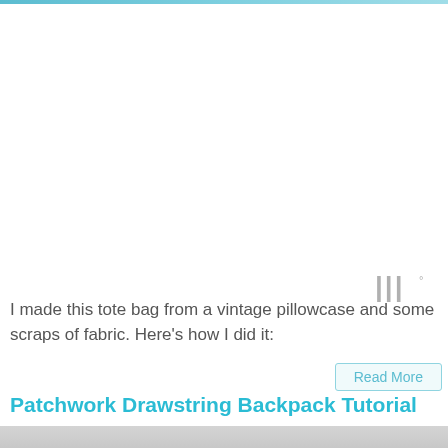[Figure (other): Top decorative gradient bar in teal/blue]
[Figure (other): Large white space area (advertisement or image placeholder)]
[Figure (logo): Watermark or logo mark: three vertical wavy lines with a degree symbol, in gray]
I made this tote bag from a vintage pillowcase and some scraps of fabric. Here's how I did it:
Read More
Patchwork Drawstring Backpack Tutorial
[Figure (photo): Bottom portion of a photo showing a patchwork drawstring backpack tutorial image, partially visible]